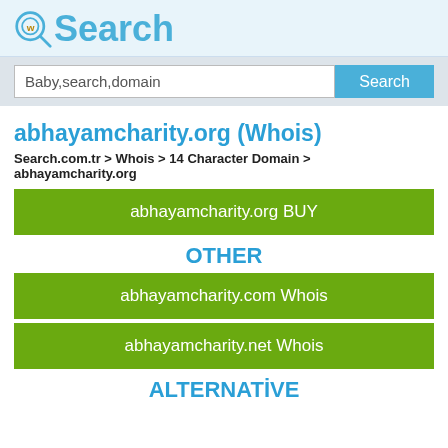Search
Baby,search,domain
abhayamcharity.org (Whois)
Search.com.tr > Whois > 14 Character Domain > abhayamcharity.org
abhayamcharity.org BUY
OTHER
abhayamcharity.com Whois
abhayamcharity.net Whois
ALTERNATİVE